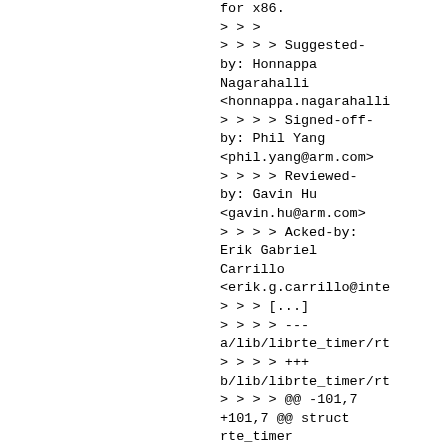for x86.
> > >
> > > > Suggested-by: Honnappa Nagarahalli <honnappa.nagarahalli
> > > > Signed-off-by: Phil Yang <phil.yang@arm.com>
> > > > Reviewed-by: Gavin Hu <gavin.hu@arm.com>
> > > > Acked-by: Erik Gabriel Carrillo <erik.g.carrillo@inte
> > > [...]
> > > > ---
a/lib/librte_timer/rt
> > > > +++
b/lib/librte_timer/rt
> > > > @@ -101,7 +101,7 @@ struct rte_timer
> > > > -	volatile union rte_timer_status status; /**< Status of timer. */
> > > > +